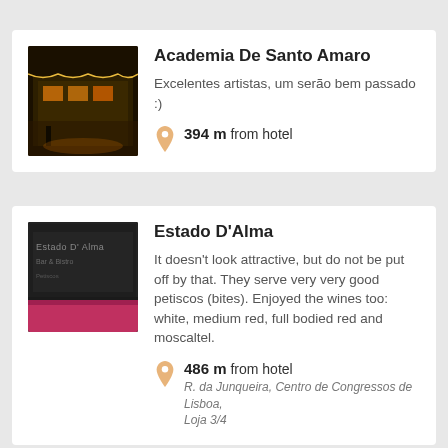[Figure (photo): Night photo of Academia De Santo Amaro, outdoor venue with warm lights]
Academia De Santo Amaro
Excelentes artistas, um serão bem passado :)
394 m from hotel
[Figure (photo): Dark photo of Estado D'Alma bar entrance with pink accent]
Estado D'Alma
It doesn't look attractive, but do not be put off by that. They serve very very good petiscos (bites). Enjoyed the wines too: white, medium red, full bodied red and moscaltel.
486 m from hotel
R. da Junqueira, Centro de Congressos de Lisboa, Loja 3/4